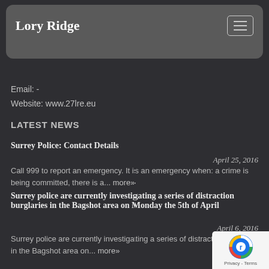Lory Ridge
Email: -
Website: www.27lre.eu
LATEST NEWS
Surrey Police: Contact Details
April 25, 2016
Call 999 to report an emergency. It is an emergency when: a crime is being committed, there is a... more»
Surrey police are currently investigating a series of distraction burglaries in the Bagshot area on Monday the 5th of April
April 6, 2016
Surrey police are currently investigating a series of distraction burglaries in the Bagshot area on... more»